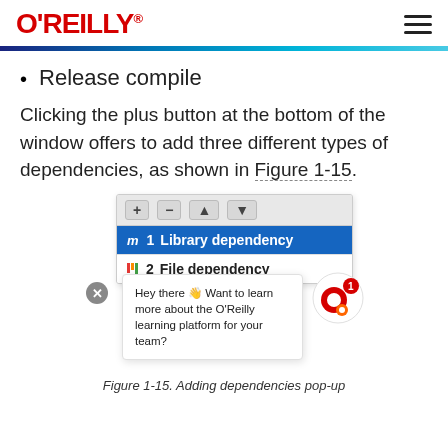O'REILLY
Release compile
Clicking the plus button at the bottom of the window offers to add three different types of dependencies, as shown in Figure 1-15.
[Figure (screenshot): Screenshot of a dependency selection popup with toolbar buttons (+, -, up, down arrows), a highlighted blue row showing 'm 1 Library dependency', a white row showing '2 File dependency' with bar chart icon, and an O'Reilly chat bubble overlay saying 'Hey there 👋 Want to learn more about the O'Reilly learning platform for your team?']
Figure 1-15. Adding dependencies pop-up